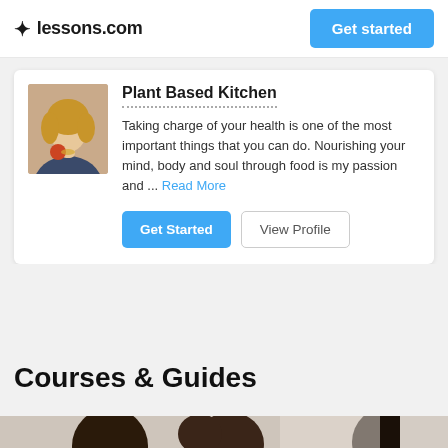lessons.com   Get started
Plant Based Kitchen
Taking charge of your health is one of the most important things that you can do. Nourishing your mind, body and soul through food is my passion and ... Read More
Get Started   View Profile
Courses & Guides
[Figure (photo): Group of students seen from behind, sitting together]